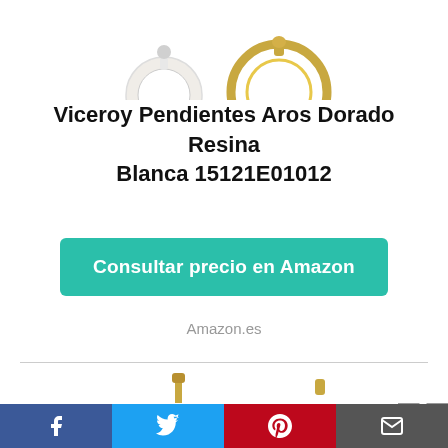[Figure (photo): Top portion of jewelry earring product images (partial, cropped at top)]
Viceroy Pendientes Aros Dorado Resina Blanca 15121E01012
[Figure (other): Teal/green rounded rectangle button with white bold text: Consultar precio en Amazon]
Amazon.es
[Figure (photo): Bottom portion of jewelry earring product images (partial, cropped at bottom)]
[Figure (other): Social sharing bar at bottom: Facebook (blue), Twitter (light blue), Pinterest (red), Email (dark gray)]